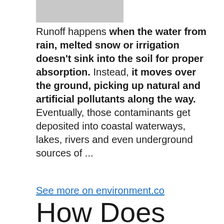[Figure (photo): Grayscale thumbnail photo, partially visible at top of page]
Runoff happens when the water from rain, melted snow or irrigation doesn't sink into the soil for proper absorption. Instead, it moves over the ground, picking up natural and artificial pollutants along the way. Eventually, those contaminants get deposited into coastal waterways, lakes, rivers and even underground sources of ...
See more on environment.co
How Does Agricultural Runoff Affect Marine Life?